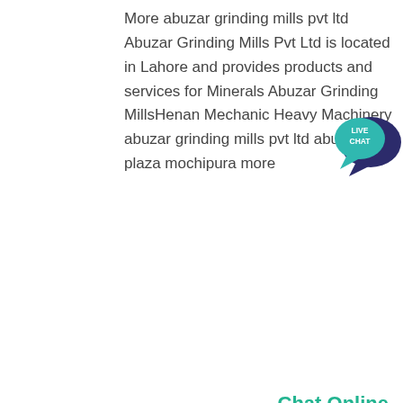More abuzar grinding mills pvt ltd Abuzar Grinding Mills Pvt Ltd is located in Lahore and provides products and services for Minerals Abuzar Grinding MillsHenan Mechanic Heavy Machinery abuzar grinding mills pvt ltd abuzar plaza mochipura more
[Figure (illustration): Live Chat speech bubble icon with dark navy background and teal text reading LIVE CHAT]
Chat Online
[Figure (photo): Photo collage of industrial grinding mill equipment]
Map Shaheen Grinding Mills Lahore
Map shaheen grinding mills lahore pcgoudbe.Mills in pakistan shaheen grinding mill shaheen stone grinding mill artsclubinstitute shaheen grinding mill raiwind rd lahorevisi shaheen grinding mills